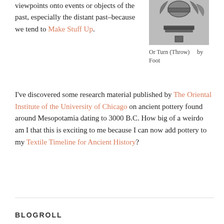viewpoints onto events or objects of the past, especially the distant past–because we tend to Make Stuff Up.
[Figure (illustration): Black and white illustration of a pottery vessel or artifact viewed from above/front]
Or Turn (Throw)    by Foot
I've discovered some research material published by The Oriental Institute of the University of Chicago on ancient pottery found around Mesopotamia dating to 3000 B.C. How big of a weirdo am I that this is exciting to me because I can now add pottery to my Textile Timeline for Ancient History?
BLOGROLL